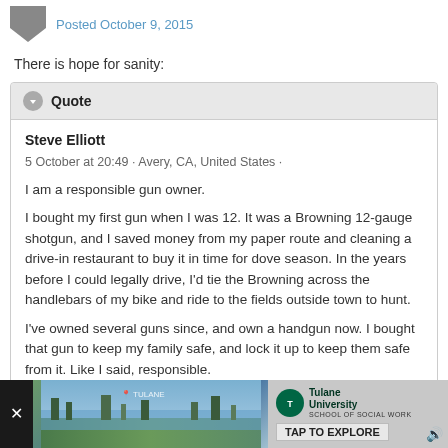Posted October 9, 2015
There is hope for sanity:
Quote
Steve Elliott
5 October at 20:49 · Avery, CA, United States ·

I am a responsible gun owner.

I bought my first gun when I was 12. It was a Browning 12-gauge shotgun, and I saved money from my paper route and cleaning a drive-in restaurant to buy it in time for dove season. In the years before I could legally drive, I'd tie the Browning across the handlebars of my bike and ride to the fields outside town to hunt.

I've owned several guns since, and own a handgun now. I bought that gun to keep my family safe, and lock it up to keep them safe from it. Like I said, responsible.
[Figure (screenshot): Advertisement bar at the bottom showing a close button, a landscape photo of a waterway/town, and a Tulane University School of Social Work ad with 'TAP TO EXPLORE' button]